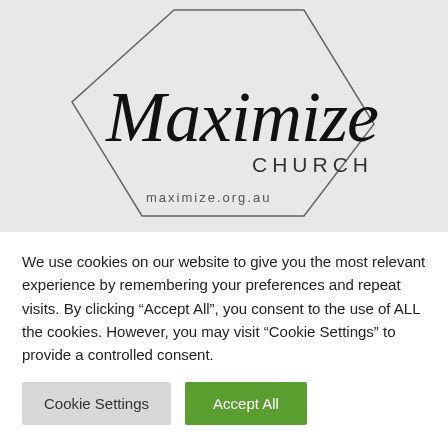[Figure (logo): Maximize Church logo: a hexagon outline with script text 'Maximize' and sans-serif 'CHURCH' inside, and 'maximize.org.au' below, on a light grey background]
We use cookies on our website to give you the most relevant experience by remembering your preferences and repeat visits. By clicking “Accept All”, you consent to the use of ALL the cookies. However, you may visit “Cookie Settings” to provide a controlled consent.
Cookie Settings
Accept All